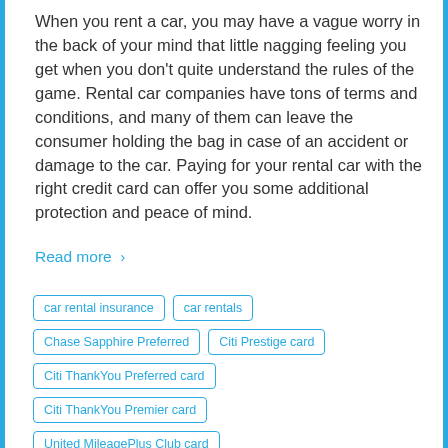When you rent a car, you may have a vague worry in the back of your mind that little nagging feeling you get when you don't quite understand the rules of the game. Rental car companies have tons of terms and conditions, and many of them can leave the consumer holding the bag in case of an accident or damage to the car. Paying for your rental car with the right credit card can offer you some additional protection and peace of mind.
Read more ›
car rental insurance
car rentals
Chase Sapphire Preferred
Citi Prestige card
Citi ThankYou Preferred card
Citi ThankYou Premier card
United MileagePlus Club card